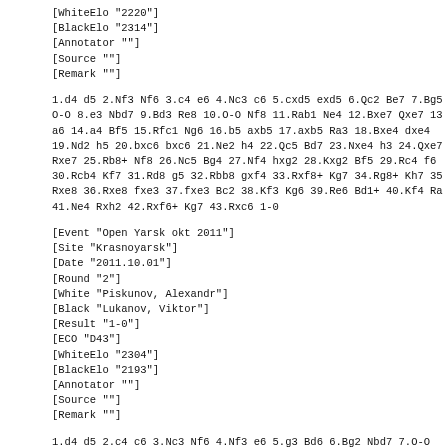[WhiteElo "2220"]
[BlackElo "2314"]
[Annotator ""]
[Source ""]
[Remark ""]
1.d4 d5 2.Nf3 Nf6 3.c4 e6 4.Nc3 c6 5.cxd5 exd5 6.Qc2 Be7 7.Bg5 O-O 8.e3 Nbd7 9.Bd3 Re8 10.O-O Nf8 11.Rab1 Ne4 12.Bxe7 Qxe7 13 a6 14.a4 Bf5 15.Rfc1 Ng6 16.b5 axb5 17.axb5 Ra3 18.Bxe4 dxe4 19.Nd2 h5 20.bxc6 bxc6 21.Ne2 h4 22.Qc5 Bd7 23.Nxe4 h3 24.Qxe7 Rxe7 25.Rb8+ Nf8 26.Nc5 Bg4 27.Nf4 hxg2 28.Kxg2 Bf5 29.Rc4 f6 30.Rcb4 Kf7 31.Rd8 g5 32.Rbb8 gxf4 33.Rxf8+ Kg7 34.Rg8+ Kh7 35 Rxe8 36.Rxe8 fxe3 37.fxe3 Bc2 38.Kf3 Kg6 39.Re6 Bd1+ 40.Kf4 Ra 41.Ne4 Rxh2 42.Rxf6+ Kg7 43.Rxc6 1-0
[Event "Open Yarsk okt 2011"]
[Site "Krasnoyarsk"]
[Date "2011.10.01"]
[Round "2"]
[White "Piskunov, Alexandr"]
[Black "Lukanov, Viktor"]
[Result "1-0"]
[ECO "D43"]
[WhiteElo "2304"]
[BlackElo "2193"]
[Annotator ""]
[Source ""]
[Remark ""]
1.d4 d5 2.c4 c6 3.Nc3 Nf6 4.Nf3 e6 5.g3 Bd6 6.Bg2 Nbd7 7.O-O O-O 8.e4 dxe4 9.Ng5 e5 10.Ngxe4 Nxe4 11.Nxe4 Be7 12.d5 cxd5 13 f5 14.d6 Bf6 15.Nxf6+ Qxf6 16.Be3 Qe6 17.Bxh7 Bxh7 18.Qh4+ Bf